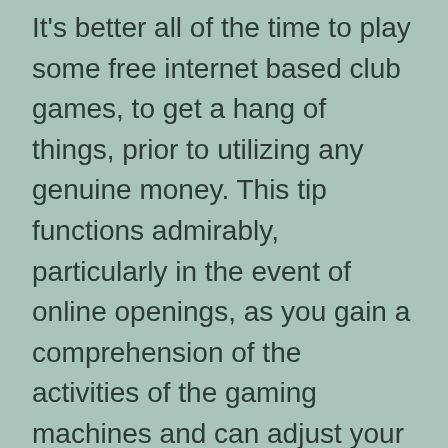It's better all of the time to play some free internet based club games, to get a hang of things, prior to utilizing any genuine money. This tip functions admirably, particularly in the event of online openings, as you gain a comprehension of the activities of the gaming machines and can adjust your techniques.
Never Rush
Individuals who are new to online spaces, get extremely amped up for the amazing chances to win enormous aggregates, and can be frequently seen playing many consecutive